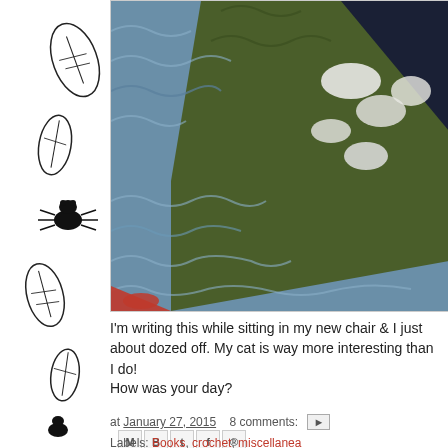[Figure (photo): Close-up photo of crochet work showing blue, olive green, white, and dark navy yarn stitches with a bit of red visible at the bottom edge.]
I'm writing this while sitting in my new chair & I just about dozed off. My cat is way more interesting than I do!
How was your day?
at January 27, 2015   8 comments:
Labels: Books, crochet, miscellanea